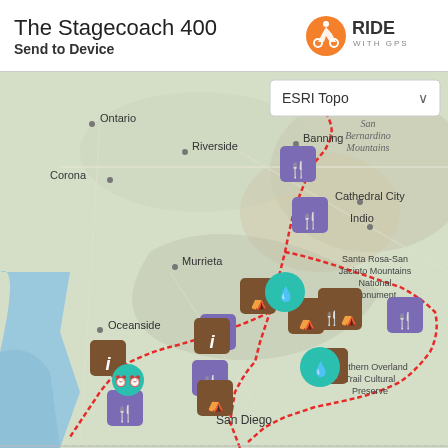The Stagecoach 400
Send to Device
[Figure (map): Ride With GPS interactive map showing the Stagecoach 400 bicycle route through Southern California, with a red dashed route line and multiple POI markers (purple fork/knife icons for food, brown tent icons for camping, brown info icons, teal water drop icons). Map labels include Ontario, Riverside, Corona, Murrieta, Oceanside, Banning, Cathedral City, Indio, San Diego, Palms, Santa Rosa-San Jacinto Mountains National Monument, San Bernardino Mountains, Southern Overland Trail Cultural Preserve. ESRI Topo basemap selected.]